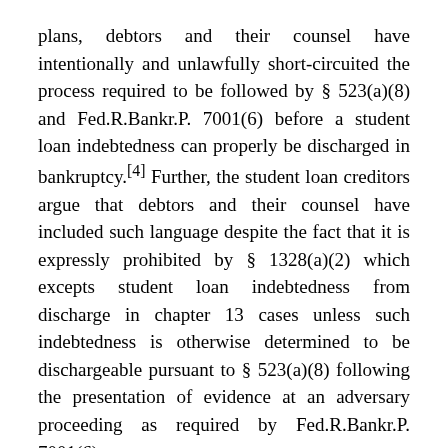plans, debtors and their counsel have intentionally and unlawfully short-circuited the process required to be followed by § 523(a)(8) and Fed.R.Bankr.P. 7001(6) before a student loan indebtedness can properly be discharged in bankruptcy.[4] Further, the student loan creditors argue that debtors and their counsel have included such language despite the fact that it is expressly prohibited by § 1328(a)(2) which excepts student loan indebtedness from discharge in chapter 13 cases unless such indebtedness is otherwise determined to be dischargeable pursuant to § 523(a)(8) following the presentation of evidence at an adversary proceeding as required by Fed.R.Bankr.P. 7001(6).
This Order is intended to clarify the Court's views on the practice of including language intended to discharge a debtor's student loan indebtedness in a